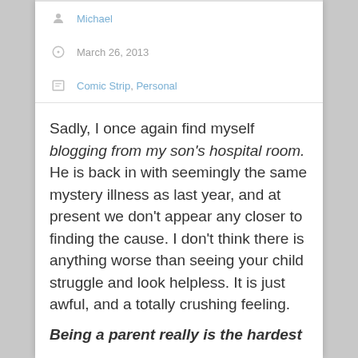Michael
March 26, 2013
Comic Strip, Personal
Sadly, I once again find myself blogging from my son's hospital room.  He is back in with seemingly the same mystery illness as last year, and at present we don't appear any closer to finding the cause.  I don't think there is anything worse than seeing your child struggle and look helpless.  It is just awful, and a totally crushing feeling.
Being a parent really is the hardest